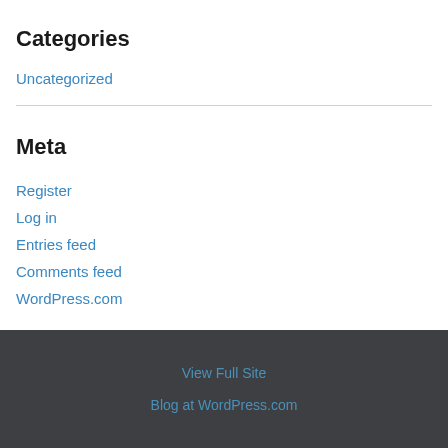Categories
Uncategorized
Meta
Register
Log in
Entries feed
Comments feed
WordPress.com
View Full Site
Blog at WordPress.com